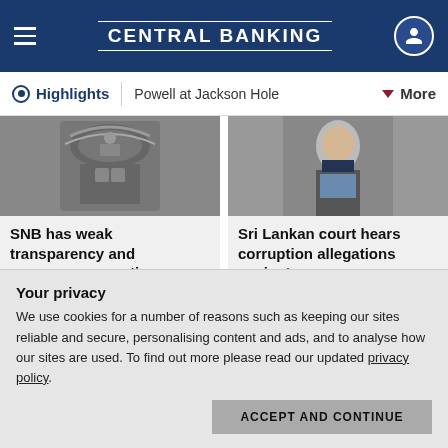CENTRAL BANKING
Highlights | Powell at Jackson Hole | More
[Figure (photo): Ornate architectural detail, grayscale, SNB article image]
SNB has weak transparency and governance practices – report
14 APR 2022
[Figure (photo): Man in dark suit and light blue tie, Sri Lankan court article image]
Sri Lankan court hears corruption allegations against ex-governor
24 MAY 2022
Your privacy
We use cookies for a number of reasons such as keeping our sites reliable and secure, personalising content and ads, and to analyse how our sites are used. To find out more please read our updated privacy policy.
ACCEPT AND CONTINUE